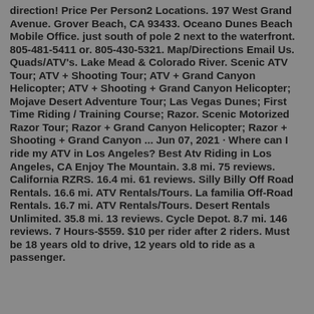direction! Price Per Person2 Locations. 197 West Grand Avenue. Grover Beach, CA 93433. Oceano Dunes Beach Mobile Office. just south of pole 2 next to the waterfront. 805-481-5411 or. 805-430-5321. Map/Directions Email Us. Quads/ATV's. Lake Mead & Colorado River. Scenic ATV Tour; ATV + Shooting Tour; ATV + Grand Canyon Helicopter; ATV + Shooting + Grand Canyon Helicopter; Mojave Desert Adventure Tour; Las Vegas Dunes; First Time Riding / Training Course; Razor. Scenic Motorized Razor Tour; Razor + Grand Canyon Helicopter; Razor + Shooting + Grand Canyon ... Jun 07, 2021 · Where can I ride my ATV in Los Angeles? Best Atv Riding in Los Angeles, CA Enjoy The Mountain. 3.8 mi. 75 reviews. California RZRS. 16.4 mi. 61 reviews. Silly Billy Off Road Rentals. 16.6 mi. ATV Rentals/Tours. La familia Off-Road Rentals. 16.7 mi. ATV Rentals/Tours. Desert Rentals Unlimited. 35.8 mi. 13 reviews. Cycle Depot. 8.7 mi. 146 reviews. 7 Hours-$559. $10 per rider after 2 riders. Must be 18 years old to drive, 12 years old to ride as a passenger.